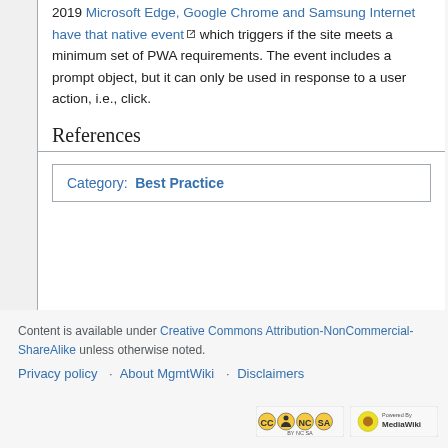2019 Microsoft Edge, Google Chrome and Samsung Internet have that native event which triggers if the site meets a minimum set of PWA requirements. The event includes a prompt object, but it can only be used in response to a user action, i.e., click.
References
Category:  Best Practice
Content is available under Creative Commons Attribution-NonCommercial-ShareAlike unless otherwise noted.
Privacy policy · About MgmtWiki · Disclaimers